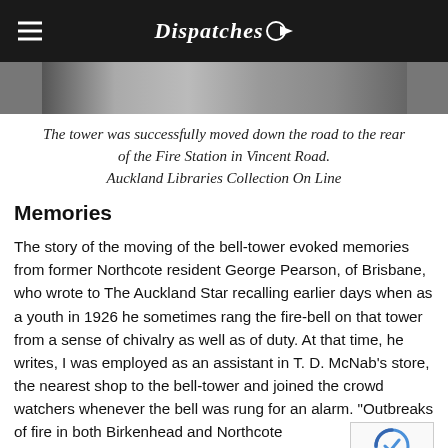Dispatches
[Figure (photo): Black and white photograph strip showing a road scene, partial view at top of page]
The tower was successfully moved down the road to the rear of the Fire Station in Vincent Road.
Auckland Libraries Collection On Line
Memories
The story of the moving of the bell-tower evoked memories from former Northcote resident George Pearson, of Brisbane, who wrote to The Auckland Star recalling earlier days when as a youth in 1926 he sometimes rang the fire-bell on that tower from a sense of chivalry as well as of duty. At that time, he writes, I was employed as an assistant in T. D. McNab's store, the nearest shop to the bell-tower and joined the crowd watchers whenever the bell was rung for an alarm. "Outbreaks of fire in both Birkenhead and Northcote districts" he continues, ...